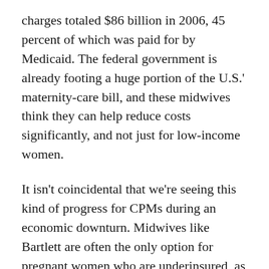charges totaled $86 billion in 2006, 45 percent of which was paid for by Medicaid. The federal government is already footing a huge portion of the U.S.' maternity-care bill, and these midwives think they can help reduce costs significantly, and not just for low-income women.
It isn't coincidental that we're seeing this kind of progress for CPMs during an economic downturn. Midwives like Bartlett are often the only option for pregnant women who are underinsured, as many in her state are. She's seen a growth in her midwifery practice in recent years, and many of the women who come to her fall between the gap of the privately insured and those who qualify for Medicaid. These women choose to enlist Bartlett's services (a bargain at around $3,000) rather than